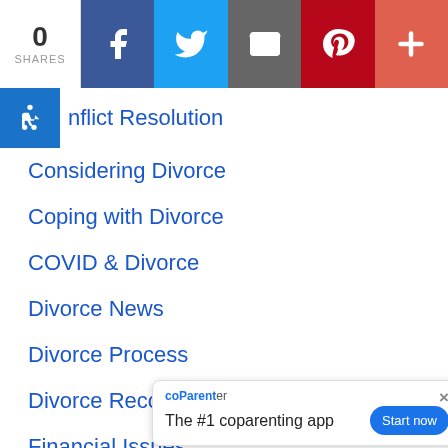0 SHARES | Facebook | Twitter | Email | Pinterest | More
Conflict Resolution
Considering Divorce
Coping with Divorce
COVID & Divorce
Divorce News
Divorce Process
Divorce Recovery
Financial Issues
Gray Divorce
Health & Wellbeing
Inspirational
coParenter — The #1 coparenting app — Start now